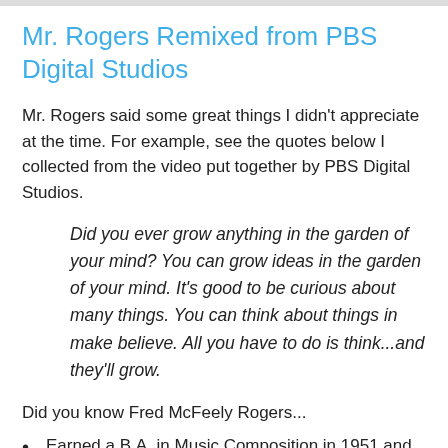Mr. Rogers Remixed from PBS Digital Studios
Mr. Rogers said some great things I didn't appreciate at the time. For example, see the quotes below I collected from the video put together by PBS Digital Studios.
Did you ever grow anything in the garden of your mind? You can grow ideas in the garden of your mind. It's good to be curious about many things. You can think about things in make believe. All you have to do is think...and they'll grow.
Did you know Fred McFeely Rogers...
Earned a B.A. in Music Composition in 1951 and wrote most of the music played on Mister Rogers' Neighborhood?
Earned a divinity degree from Pittsburgh Theological Seminary, was